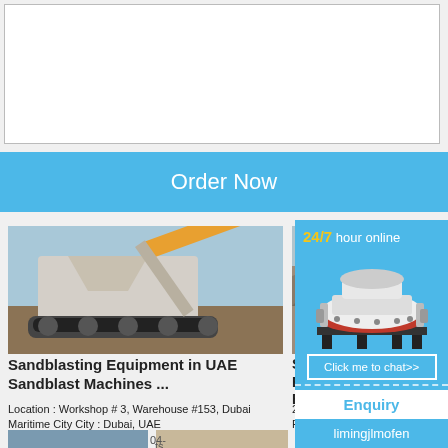[Figure (other): Empty textarea / input box at the top of the page]
Order Now
[Figure (photo): Sandblasting / crushing equipment machine on tracks at a construction site]
Sandblasting Equipment in UAE Sandblast Machines ...
Location : Workshop # 3, Warehouse #153, Dubai Maritime City City : Dubai, UAE
[Figure (photo): Quarry or construction site with rocks and machinery]
Sandblasting Equipment Supplier Blast ...
2021-11-4 · Equipment Portable B...
[Figure (infographic): Blue overlay panel showing 24/7 hour online, cone crusher machine image, Click me to chat>> button, Enquiry section, and limingjlmofen branding]
24/7 hour online
Click me to chat>>
Enquiry
limingjlmofen